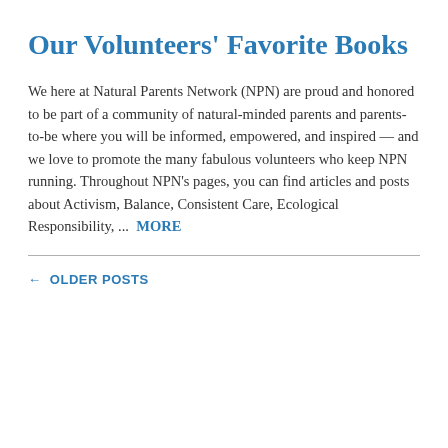Our Volunteers' Favorite Books
We here at Natural Parents Network (NPN) are proud and honored to be part of a community of natural-minded parents and parents-to-be where you will be informed, empowered, and inspired — and we love to promote the many fabulous volunteers who keep NPN running. Throughout NPN's pages, you can find articles and posts about Activism, Balance, Consistent Care, Ecological Responsibility, ...  MORE
← OLDER POSTS